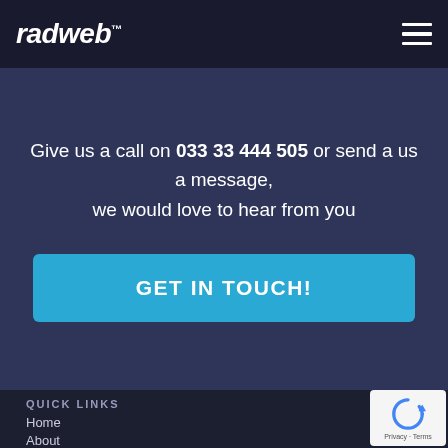radweb
Give us a call on 033 33 444 505 or send a us a message, we would love to hear from you
GET IN TOUCH!
QUICK LINKS
Home
About
[Figure (logo): reCAPTCHA privacy badge with circular arrow icon and Privacy - Terms text]